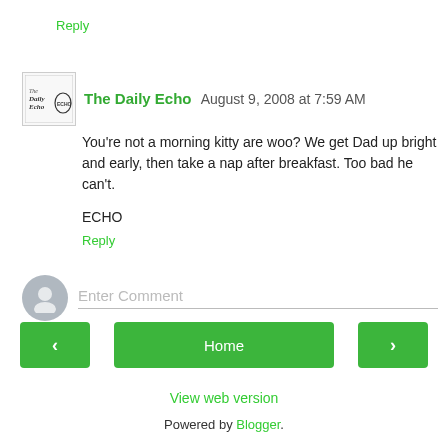Reply
The Daily Echo  August 9, 2008 at 7:59 AM
You're not a morning kitty are woo? We get Dad up bright and early, then take a nap after breakfast. Too bad he can't.
ECHO
Reply
Enter Comment
Home
View web version
Powered by Blogger.